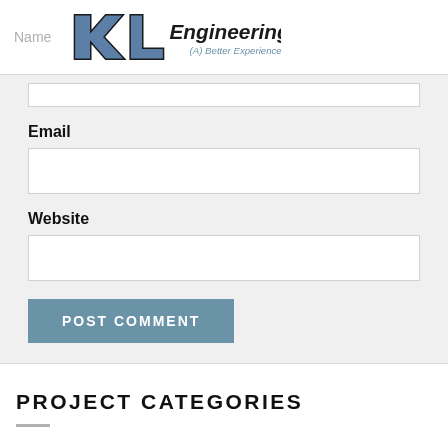Name | KL Engineering (A) Better Experience
Email
Website
POST COMMENT
PROJECT CATEGORIES